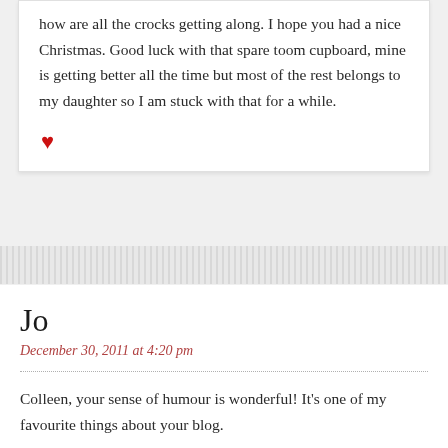how are all the crocks getting along. I hope you had a nice Christmas. Good luck with that spare toom cupboard, mine is getting better all the time but most of the rest belongs to my daughter so I am stuck with that for a while.
♥
Jo
December 30, 2011 at 4:20 pm
Colleen, your sense of humour is wonderful! It's one of my favourite things about your blog.